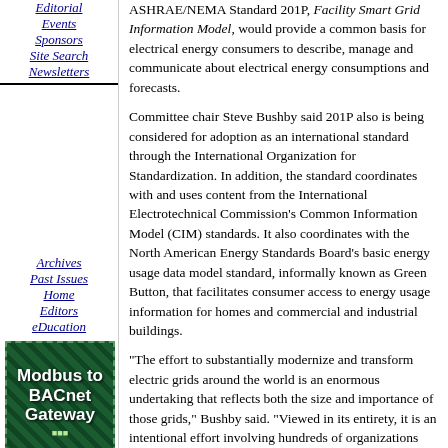Editorial
Events
Sponsors
Site Search
Newsletters
ASHRAE/NEMA Standard 201P, Facility Smart Grid Information Model, would provide a common basis for electrical energy consumers to describe, manage and communicate about electrical energy consumptions and forecasts.
Committee chair Steve Bushby said 201P also is being considered for adoption as an international standard through the International Organization for Standardization. In addition, the standard coordinates with and uses content from the International Electrotechnical Commission’s Common Information Model (CIM) standards. It also coordinates with the North American Energy Standards Board’s basic energy usage data model standard, informally known as Green Button, that facilitates consumer access to energy usage information for homes and commercial and industrial buildings.
Archives
Past Issues
Home
Editors
eDucation
[Figure (advertisement): Modbus to BACnet Gateway advertisement with green circuit board background]
Training
“The effort to substantially modernize and transform electric grids around the world is an enormous undertaking that reflects both the size and importance of those grids,” Bushby said. “Viewed in its entirety, it is an intentional effort involving hundreds of organizations and